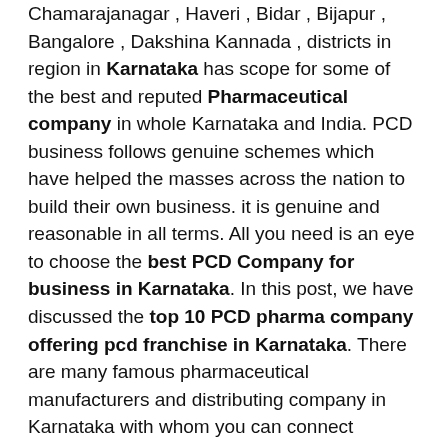Chamarajanagar , Haveri , Bidar , Bijapur , Bangalore , Dakshina Kannada , districts in region in Karnataka has scope for some of the best and reputed Pharmaceutical company in whole Karnataka and India. PCD business follows genuine schemes which have helped the masses across the nation to build their own business. it is genuine and reasonable in all terms. All you need is an eye to choose the best PCD Company for business in Karnataka. In this post, we have discussed the top 10 PCD pharma company offering pcd franchise in Karnataka. There are many famous pharmaceutical manufacturers and distributing company in Karnataka with whom you can connect yourself. The pharmaceutical companies like etc are which you can choose for your investment. Connecting with pharma company and choosing the best pharmaceutical industry can be challenging for anyone. Just to make it easy for you, here we have a complete list of top PCD pharma franchise in Karnataka which